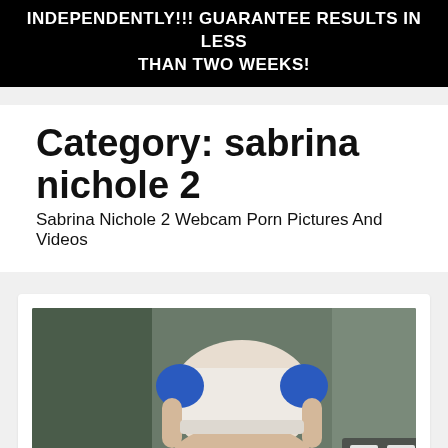INDEPENDENTLY!!! GUARANTEE RESULTS IN LESS THAN TWO WEEKS!
Category: sabrina nichole 2
Sabrina Nichole 2 Webcam Porn Pictures And Videos
[Figure (photo): A photo showing a person from behind wearing a white crop top and blue sleeves, with no pants, standing near a wall with Japanese signage.]